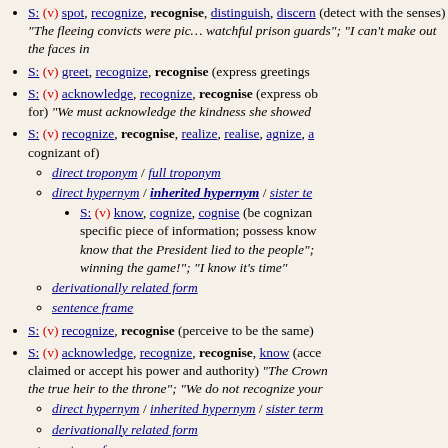S: (v) spot, recognize, recognise, distinguish, discern (detect with the senses) "The fleeing convicts were picked up by the watchful prison guards"; "I can't make out the faces in the crowd"
S: (v) greet, recognize, recognise (express greetings)
S: (v) acknowledge, recognize, recognise (express obligation, thanks, or gratitude for) "We must acknowledge the kindness she showed towards us"
S: (v) recognize, recognise, realize, realise, agnize, agnise (be fully aware or cognizant of)
direct troponym / full troponym
direct hypernym / inherited hypernym / sister term
S: (v) know, cognize, cognise (be cognizant or aware of a fact or a specific piece of information; possess knowledge or information about) "I know that the President lied to the people"; "I want to know who is winning the game!"; "I know it's time"
derivationally related form
sentence frame
S: (v) recognize, recognise (perceive to be the same)
S: (v) acknowledge, recognize, recognise, know (accept (someone) to be what is claimed or accept his power and authority) "The Crown refused to recognize the new government"; "We do not recognize your authority"
direct hypernym / inherited hypernym / sister term
derivationally related form
sentence frame